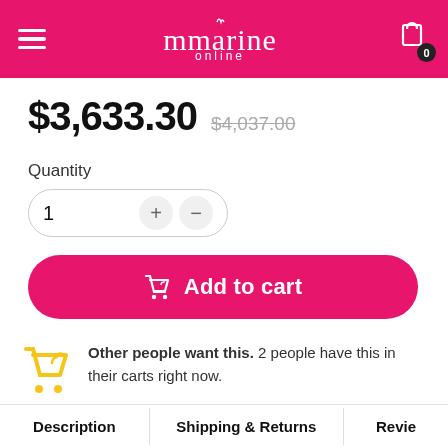mmarine online
$3,633.30  $4,037.00
Quantity
1  +  -
Add to cart
Other people want this. 2 people have this in their carts right now.
Description   Shipping & Returns   Revie